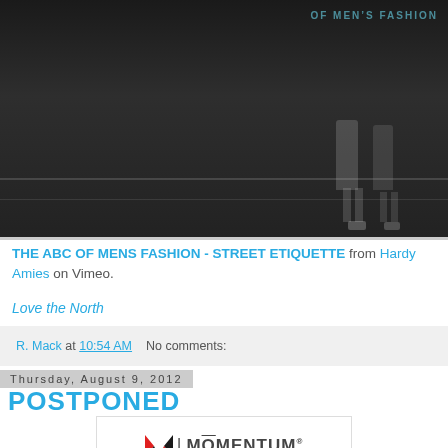[Figure (screenshot): Dark screenshot of a Vimeo video showing two people standing on a street, with overlay text 'OF MENS FASHION' in the top right.]
THE ABC OF MENS FASHION - STREET ETIQUETTE from Hardy Amies on Vimeo.
Love the North
R. Mack at 10:54 AM   No comments:
Thursday, August 9, 2012
POSTPONED
[Figure (logo): Momentum Skateboarding logo — stylized M icon in red, white, black followed by a vertical bar and MOMENTUM with a macron over the O, then SKATEBOARDING below.]